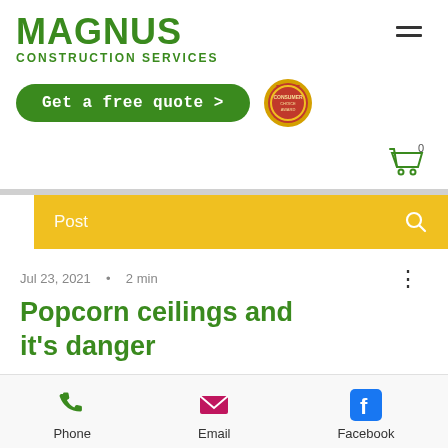[Figure (logo): Magnus Construction Services logo with green text and hamburger menu icon]
[Figure (infographic): Green rounded-rectangle CTA button reading 'Get a free quote >' with a Consumer award medal badge to the right]
[Figure (infographic): Shopping cart icon with '0' count, green outline style]
[Figure (infographic): Yellow search bar with 'Post' text and magnifier search icon]
Jul 23, 2021 · 2 min
Popcorn ceilings and it's danger
[Figure (infographic): Contact bar with Phone (green phone icon), Email (pink envelope icon), Facebook (blue Facebook icon)]